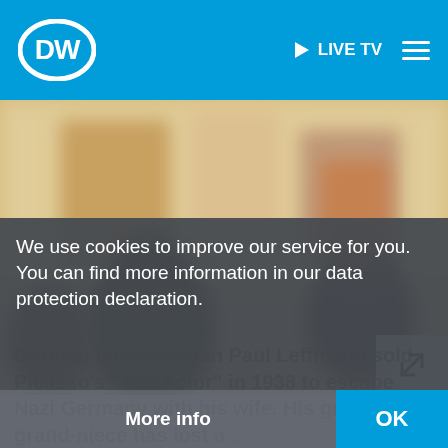[Figure (logo): DW (Deutsche Welle) logo — white circle with DW letters in blue background header]
▶ LIVE TV  ≡
[Figure (photo): Blurred photo of people in an art gallery or museum with paintings on the wall]
We use cookies to improve our service for you. You can find more information in our data protection declaration.
German businessman Paul Leffmann sold Picasso's "The Actor" in 1938 to escape Nazi Germany with his wife. His great-grand-niece has lost a...
More info
OK